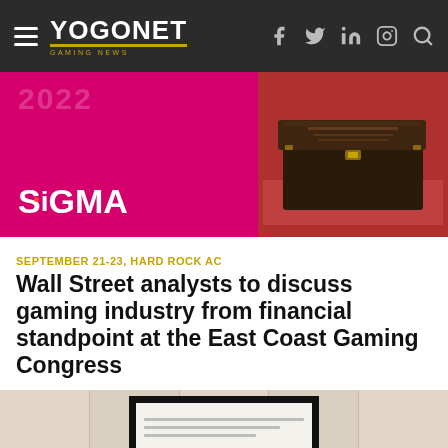YOGONET GAMING NEWS
[Figure (photo): SiGMA event banner with pink/magenta background showing SiGMA logo and a dark wooden box on a red background]
SEPTEMBER 21-23, HARD ROCK AC
Wall Street analysts to discuss gaming industry from financial standpoint at the East Coast Gaming Congress
[Figure (photo): Bottom portion of a photo showing a framed document/poster on a wooden panel wall background]